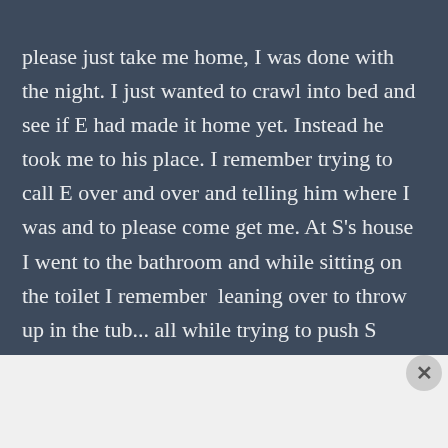please just take me home, I was done with the night. I just wanted to crawl into bed and see if E had made it home yet. Instead he took me to his place. I remember trying to call E over and over and telling him where I was and to please come get me. At S's house I went to the bathroom and while sitting on the toilet I remember  leaning over to throw up in the tub... all while trying to push S away. He was sticking his hands between my legs while I was tryna piss. And I'm crying and randomly drunk calling out for E. I just wanted it all to stop. Then I remember seeing E standing at
Advertisements
[Figure (other): Advertisement banner for WordPress app: 'Create immersive stories.' with GET THE APP button and WordPress logo]